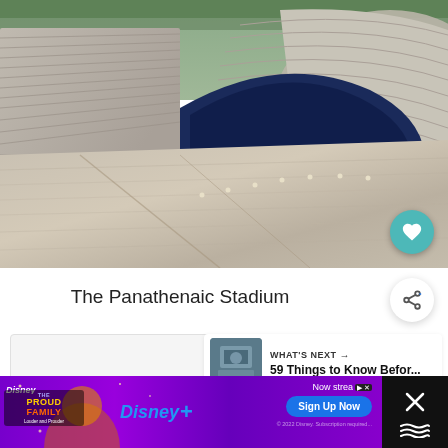[Figure (photo): Aerial/ground-level view of the Panathenaic Stadium in Athens, showing white marble seating tiers and a dark blue running track curving at the far end, taken from a low angle looking across the track.]
The Panathenaic Stadium
[Figure (photo): Thumbnail image of a flooded or waterfront building for a 'What's Next' article.]
WHAT'S NEXT → 59 Things to Know Befor...
[Figure (screenshot): Disney+ advertisement banner featuring The Proud Family cartoon and Disney+ branding with 'Now streaming', 'Sign Up Now' button, and copyright notice.]